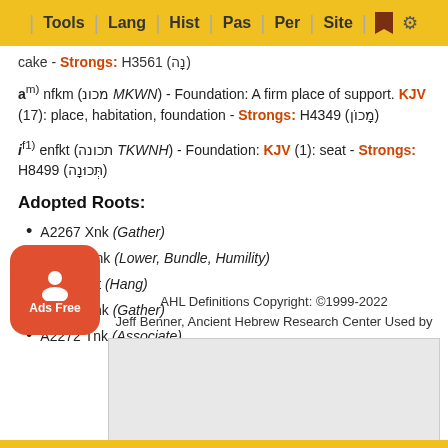Tools | Lang | Hist | Pas | Per | Site | [bookmark] [gear]
cake - Strongs: H3561 (נָה)
a^m) nfkm (מכונ MKWN) - Foundation: A firm place of support. KJV (17): place, habitation, foundation - Strongs: H4349 (מָכוֹן)
i^f1) enfkt (תכונה TKWNH) - Foundation: KJV (1): seat - Strongs: H8499 (תְּכוּנָה)
Adopted Roots:
A2267 Xnk (Gather)
A2268 Onk (Lower, Bundle, Humility)
A2894 Plt (Hang)
A2271 Snk (Gather)
A2272 Tnk (Associate)
AHL Definitions Copyright: ©1999-2022 Jeff Benner, Ancient Hebrew Research Center Used by